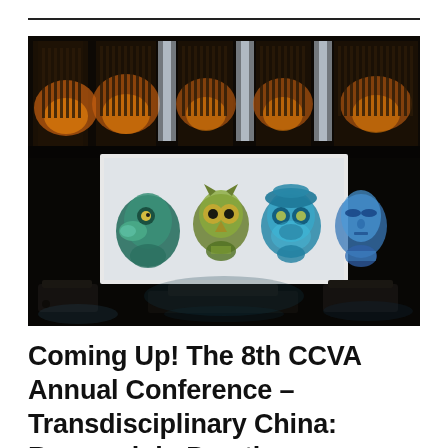[Figure (photo): Dark conference hall with ornate amber-lit architectural columns in the upper portion, and a projection screen showing four illuminated 3D mask/face sculptures (green-yellow tones) on a white background. Projectors visible in the foreground on a dark stage.]
Coming Up! The 8th CCVA Annual Conference – Transdisciplinary China: Research in Practice